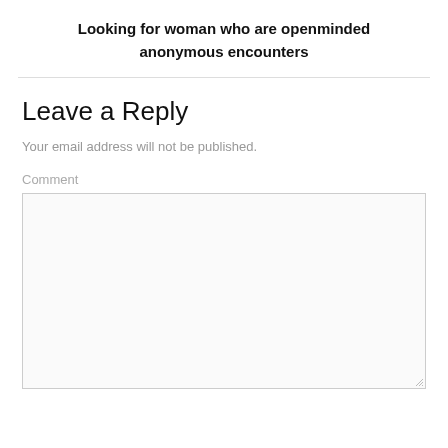Looking for woman who are openminded anonymous encounters
Leave a Reply
Your email address will not be published.
Comment